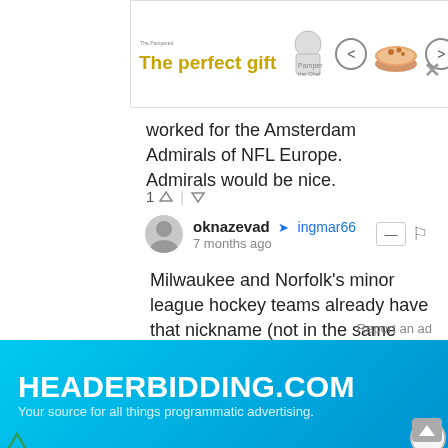[Figure (screenshot): Top advertisement banner for The Pampered Chef: 'The perfect gift' in gold text, with food bowl imagery, navigation arrows, and '35% OFF + FREE SHIPPING' promotional badge.]
worked for the Amsterdam Admirals of NFL Europe. Admirals would be nice.
1 ↑ | ↓
oknazevad → ingmar66
7 months ago
Milwaukee and Norfolk's minor league hockey teams already have that nickname (not in the same league/level). Since Norfolk isn't too far from DC they probably decided against that. Plus Washington is an inland city, not a sea port, so it doesn't really fit as well as it could.
1 ↑ | ↓
Geoffrey Hooker → oknazevad
7 months ago
Report an ad
[Figure (screenshot): Bottom advertisement banner for HEADERBIDDING.COM with blue gradient background. Text: 'HEADERBIDDING.COM - Your source for all things programmatic advertising.']